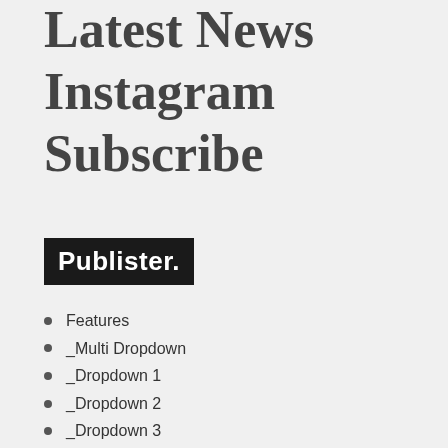Latest News
Instagram
Subscribe
[Figure (logo): Publister. logo — white bold sans-serif text on black background]
Features
_Multi Dropdown
_Dropdown 1
_Dropdown 2
_Dropdown 3